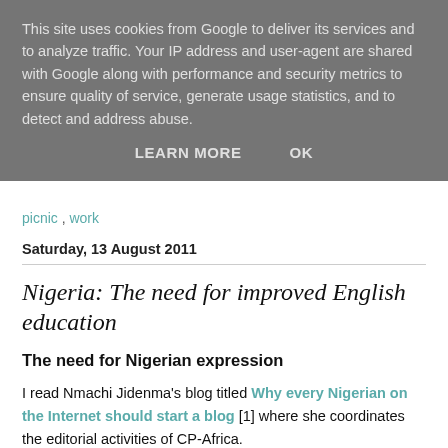This site uses cookies from Google to deliver its services and to analyze traffic. Your IP address and user-agent are shared with Google along with performance and security metrics to ensure quality of service, generate usage statistics, and to detect and address abuse.
LEARN MORE   OK
picnic , work
Saturday, 13 August 2011
Nigeria: The need for improved English education
The need for Nigerian expression
I read Nmachi Jidenma's blog titled Why every Nigerian on the Internet should start a blog [1] where she coordinates the editorial activities of CP-Africa.
One can easily see the premise of her argument; as usual